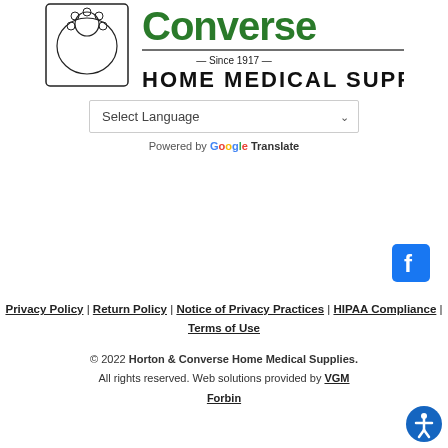[Figure (logo): Horton & Converse Home Medical Supplies logo with lion emblem and green Converse text Since 1917]
Select Language (dropdown)
Powered by Google Translate
[Figure (logo): Facebook icon - blue square with white F]
Privacy Policy | Return Policy | Notice of Privacy Practices | HIPAA Compliance | Terms of Use
© 2022 Horton & Converse Home Medical Supplies. All rights reserved. Web solutions provided by VGM Forbin